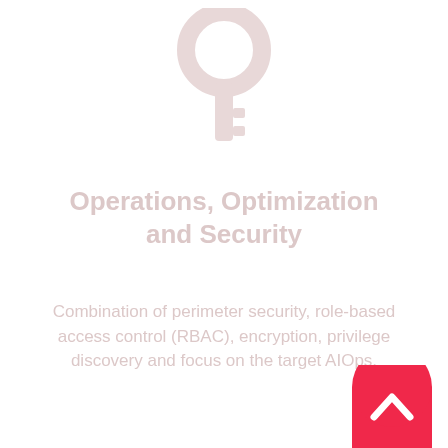[Figure (illustration): A light pink/faded key icon centered near the top of the page]
Operations, Optimization and Security
Combination of perimeter security, role-based access control (RBAC), encryption, privilege discovery and focus on the target AIOps.
[Figure (illustration): A red rounded button with a white upward chevron arrow in the bottom right corner]